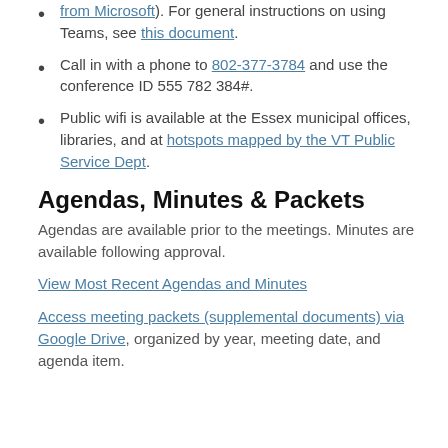from Microsoft). For general instructions on using Teams, see this document.
Call in with a phone to 802-377-3784 and use the conference ID 555 782 384#.
Public wifi is available at the Essex municipal offices, libraries, and at hotspots mapped by the VT Public Service Dept.
Agendas, Minutes & Packets
Agendas are available prior to the meetings. Minutes are available following approval.
View Most Recent Agendas and Minutes
Access meeting packets (supplemental documents) via Google Drive, organized by year, meeting date, and agenda item.